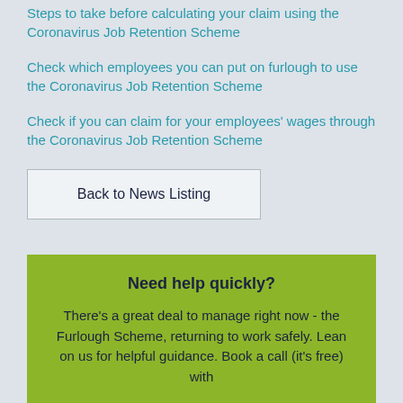Steps to take before calculating your claim using the Coronavirus Job Retention Scheme
Check which employees you can put on furlough to use the Coronavirus Job Retention Scheme
Check if you can claim for your employees' wages through the Coronavirus Job Retention Scheme
Back to News Listing
Need help quickly?
There's a great deal to manage right now - the Furlough Scheme, returning to work safely. Lean on us for helpful guidance. Book a call (it's free) with